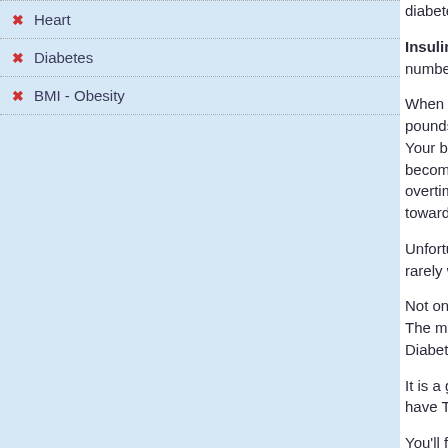Heart
Diabetes
BMI - Obesity
diabetes cases. This syndrome is what triggers…
Insulin resistance is virtually ignored by co… numbers for people with Type 2 diabetes contin…
When you become insulin resistant, unused glu… pounds appear, especially in the abdomen. Your blood gets thick with glucose, causing yo… become starved of blood and the precious o… overtime, pumping water into your blood in a … toward an inevitable breakdown.
Unfortunately, doctors only focus on lowering b… rarely works; in fact, it often has the opposite ef…
Not one of the five major classes of oral diabe… The majority of these medications merely incre… Diabetes!
It is a grave error being made over and over a… have Type 2 Diabetes.
You'll find many doctors increasing dosages, a… of nasty side effects to battle. Prepare for wei… stroke. These are known risks of these medicat…
Diabetes and Obesity Go Hand in Han…